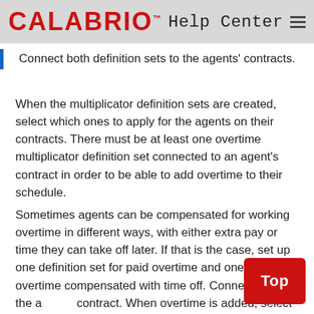CALABRIO™ Help Center
Connect both definition sets to the agents' contracts.
When the multiplicator definition sets are created, select which ones to apply for the agents on their contracts. There must be at least one overtime multiplicator definition set connected to an agent's contract in order to be able to add overtime to their schedule.
Sometimes agents can be compensated for working overtime in different ways, with either extra pay or time they can take off later. If that is the case, set up one definition set for paid overtime and one for overtime compensated with time off. Connect both to the agent's contract. When overtime is added, select which definition set to apply.